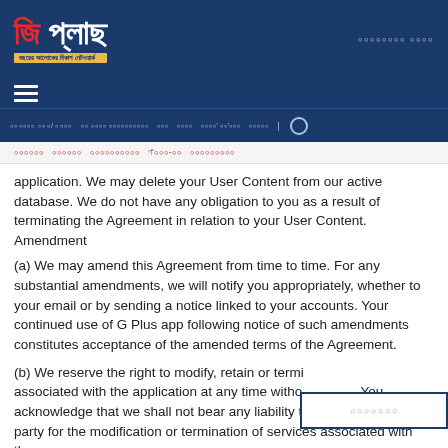G Plus logo header with navigation
application. We may delete your User Content from our active database. We do not have any obligation to you as a result of terminating the Agreement in relation to your User Content. Amendment
(a) We may amend this Agreement from time to time. For any substantial amendments, we will notify you appropriately, whether to your email or by sending a notice linked to your accounts. Your continued use of G Plus app following notice of such amendments constitutes acceptance of the amended terms of the Agreement.
(b) We reserve the right to modify, retain or termi... associated with the application at any time witho... You acknowledge that we shall not bear any liability to you or any third party for the modification or termination of services associated with the app.